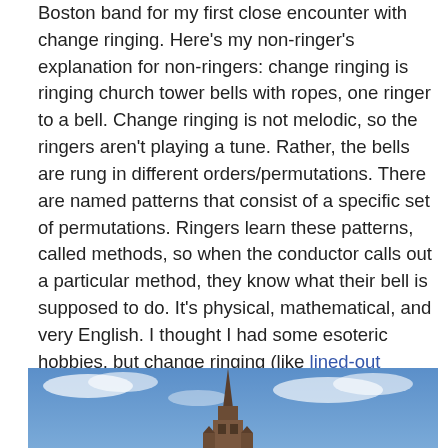Boston band for my first close encounter with change ringing. Here's my non-ringer's explanation for non-ringers: change ringing is ringing church tower bells with ropes, one ringer to a bell. Change ringing is not melodic, so the ringers aren't playing a tune. Rather, the bells are rung in different orders/permutations. There are named patterns that consist of a specific set of permutations. Ringers learn these patterns, called methods, so when the conductor calls out a particular method, they know what their bell is supposed to do. It's physical, mathematical, and very English. I thought I had some esoteric hobbies, but change ringing (like lined-out hymnody!) makes shape note singing look mainstream.
[Figure (photo): A church steeple/spire photographed against a blue sky with clouds, viewed from below looking up.]